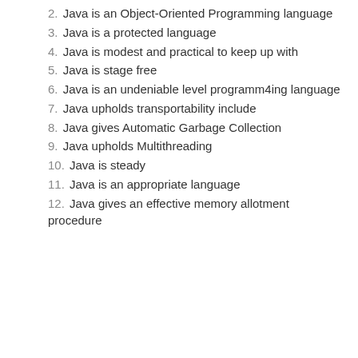2. Java is an Object-Oriented Programming language
3. Java is a protected language
4. Java is modest and practical to keep up with
5. Java is stage free
6. Java is an undeniable level programm4ing language
7. Java upholds transportability include
8. Java gives Automatic Garbage Collection
9. Java upholds Multithreading
10. Java is steady
11. Java is an appropriate language
12. Java gives an effective memory allotment procedure